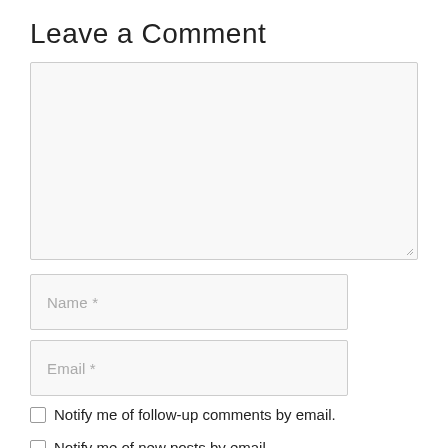Leave a Comment
[Figure (screenshot): Large text input area (textarea) with light gray background and border, with a resize handle at bottom-right corner]
[Figure (screenshot): Text input field with placeholder text 'Name *']
[Figure (screenshot): Text input field with placeholder text 'Email *']
Notify me of follow-up comments by email.
Notify me of new posts by email.